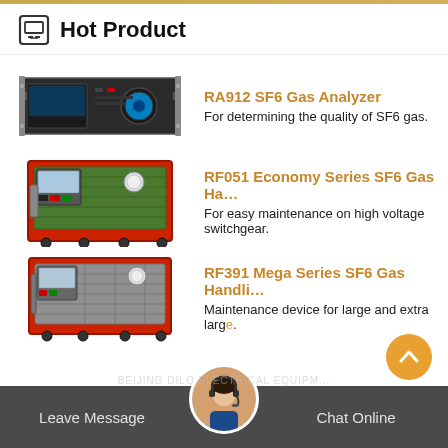Hot Product
[Figure (photo): RA912 SF6 Gas Analyzer - rack-mounted electronic instrument with dark casing and blue circular dial]
RA912 SF6 Gas Analyzer
For determining the quality of SF6 gas.
[Figure (photo): RF051 Economy Series SF6 Gas Handling device - large green/red industrial unit on wheels]
RF051 Economy Series SF6 Gas Ha...
For easy maintenance on high voltage switchgear.
[Figure (photo): RF391 Mega Series SF6 Gas Handling device - large grey/red industrial cabinet on wheels]
RF391 Mega Series SF6 Gas Handli...
Maintenance device for large and extra large.
Leave Message   Chat Online